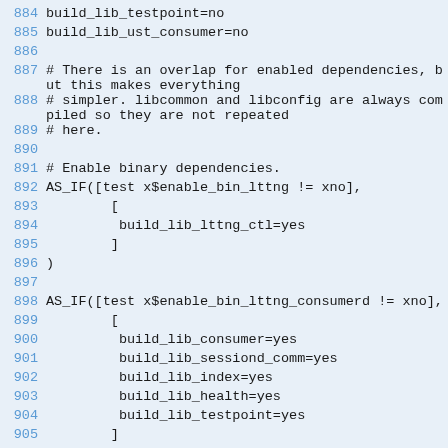884 build_lib_testpoint=no
885 build_lib_ust_consumer=no
886 
887 # There is an overlap for enabled dependencies, but this makes everything
888 # simpler. libcommon and libconfig are always compiled so they are not repeated
889 # here.
890 
891 # Enable binary dependencies.
892 AS_IF([test x$enable_bin_lttng != xno],
893         [
894          build_lib_lttng_ctl=yes
895         ]
896 )
897 
898 AS_IF([test x$enable_bin_lttng_consumerd != xno],
899         [
900          build_lib_consumer=yes
901          build_lib_sessiond_comm=yes
902          build_lib_index=yes
903          build_lib_health=yes
904          build_lib_testpoint=yes
905         ]